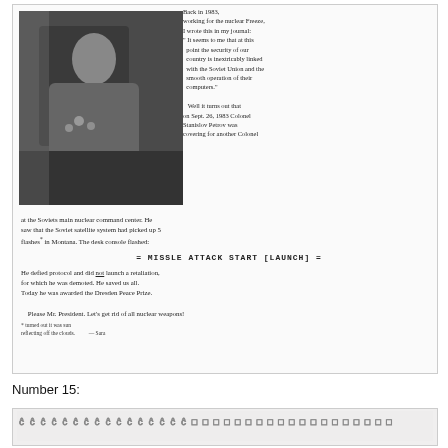[Figure (photo): Black and white photograph of a man in military uniform with medals, sitting near a window, appearing to write or read.]
Back in 1983, working for the nuclear freeze, I wrote this in my journal: "It seems to me that at this point the security of our country is inextricably linked with the Soviet Union and the smooth operation of their computers."

Well it turns out that on Sept. 26, 1983 Colonel Stanislov Petrov was covering for another Colonel at the Soviets main nuclear command center. He saw that the Soviet satellite system had picked up 5 flashes* in Montana. The desk console flashed:

= MISSLE ATTACK START [LAUNCH] =

He defied protocol and did not launch a retaliation, for which he was demoted. He saved us all. Today he was awarded the Dresden Peace Prize.

Please Mr. President. Let's get rid of all nuclear weapons!
* turned out it was sun reflecting off the clouds.    — Sara
Number 15:
[Figure (other): A row of small tick or check mark symbols arranged in a horizontal bar, appearing to be part of a survey or ballot form.]